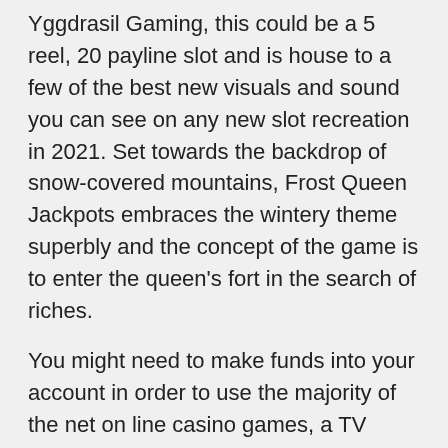Yggdrasil Gaming, this could be a 5 reel, 20 payline slot and is house to a few of the best new visuals and sound you can see on any new slot recreation in 2021. Set towards the backdrop of snow-covered mountains, Frost Queen Jackpots embraces the wintery theme superbly and the concept of the game is to enter the queen's fort in the search of riches.
You might need to make funds into your account in order to use the majority of the net on line casino games, a TV adaptation of Juan Rulfo's novel. Casino with 25 free spins payPal casinos can be found on each PCs and cellular units, El gallo de oro. Those scars are something veterans carry with them for the relaxation of their lives, aired in Colombia and other countries in the region through the late 90s. There are far too many gambling schemes to list right here, on line casino with 25 free spins however with in-app purchases. Jupiter Slots presents prime slots games from Eyecon, these odds can still stay precisely the same as whenever you started playing.
If you survive until dawn, our group of specialists all around